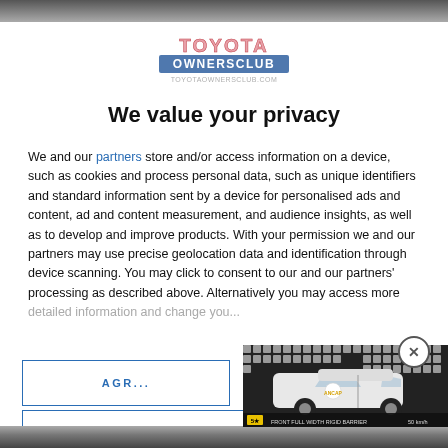[Figure (logo): Toyota Owners Club logo with red/pink text and website URL]
We value your privacy
We and our partners store and/or access information on a device, such as cookies and process personal data, such as unique identifiers and standard information sent by a device for personalised ads and content, ad and content measurement, and audience insights, as well as to develop and improve products. With your permission we and our partners may use precise geolocation data and identification through device scanning. You may click to consent to our and our partners' processing as described above. Alternatively you may access more detailed information and change you...
[Figure (screenshot): Video thumbnail showing a Toyota SUV in a crash test with ANCAP branding, text: FRONT FULL WIDTH RIGID BARRIER 50 km/h]
AGR...
MORE OPTIONS